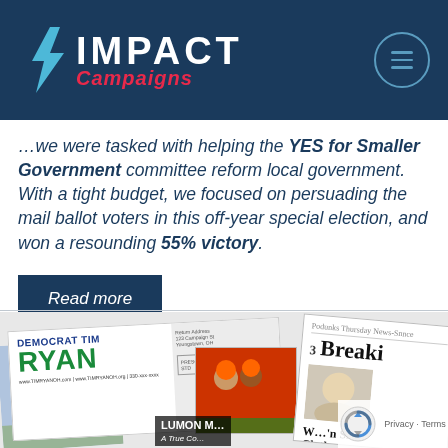IMPACT Campaigns
...Pendleton's Charter, we were tasked with helping the YES for Smaller Government committee reform local government. With a tight budget, we focused on persuading the mail ballot voters in this off-year special election, and won a resounding 55% victory.
Read more
[Figure (photo): Collage of political campaign materials including a Democrat Tim Ryan mailer, a community photo, a football team photo, a Breaking news newspaper, and a Lumon mailer]
Privacy · Terms